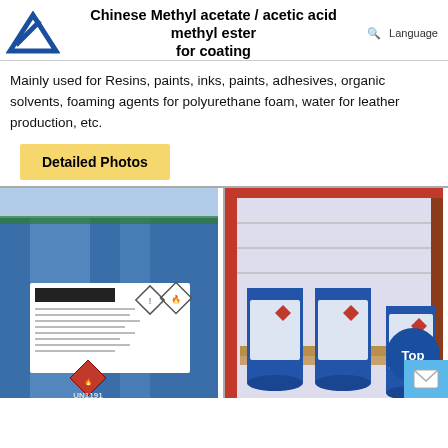Chinese Methyl acetate / acetic acid methyl ester for coating
Mainly used for Resins, paints, inks, paints, adhesives, organic solvents, foaming agents for polyurethane foam, water for leather production, etc.
Detailed Photos
[Figure (photo): Close-up of a blue chemical drum wrapped in plastic, with a white label showing hazard symbols and text including 'UN1191', and a red flammable diamond label at the bottom.]
[Figure (photo): Blue chemical drums stacked on pallets inside a red shipping container, with hazard labels visible. A dark blue circular 'Top' badge and a light blue mail icon box overlay the bottom right.]